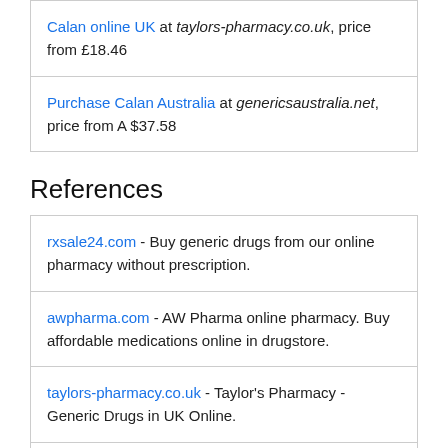Calan online UK at taylors-pharmacy.co.uk, price from £18.46
Purchase Calan Australia at genericsaustralia.net, price from A $37.58
References
rxsale24.com - Buy generic drugs from our online pharmacy without prescription.
awpharma.com - AW Pharma online pharmacy. Buy affordable medications online in drugstore.
taylors-pharmacy.co.uk - Taylor's Pharmacy - Generic Drugs in UK Online.
genericsaustralia.net - Online Pharmacy in Australia Without Prescription. Australian Internet Pharmacy.